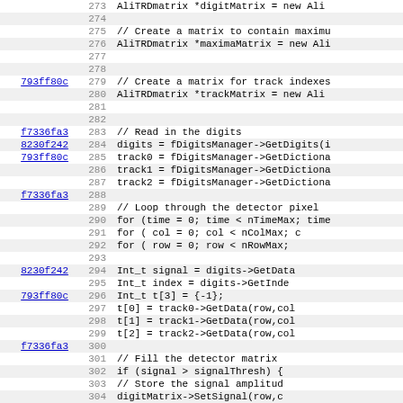[Figure (screenshot): Source code viewer showing C++ code lines 273-305 with line numbers and git hash annotations. Lines alternate white/gray background. Hash identifiers link to commits.]